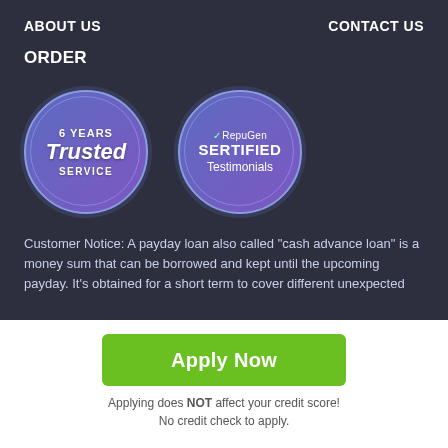ABOUT US    CONTACT US
ORDER
[Figure (illustration): Two circular badge icons side by side. Left badge: blue/purple circle with inner ring, text '6 YEARS', 'Trusted', 'SERVICE'. Right badge: blue/purple circle with inner ring, checkmark RepuGen logo, text 'SERTIFIED Testimonials'.]
Customer Notice: A payday loan also called “cash advance loan” is a money sum that can be borrowed and kept until the upcoming payday. It’s obtained for a short term to cover different unexpected
Apply Now
Applying does NOT affect your credit score!
No credit check to apply.